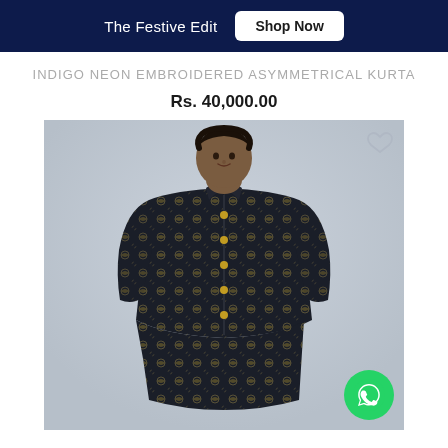The Festive Edit   Shop Now
INDIGO NEON EMBROIDERED ASYMMETRICAL KURTA
Rs. 40,000.00
[Figure (photo): A man wearing an indigo dark embroidered asymmetrical kurta with gold floral embroidery and gold buttons, photographed against a light grey background. A wishlist heart icon is visible in the top right corner and a WhatsApp floating button in the bottom right corner.]